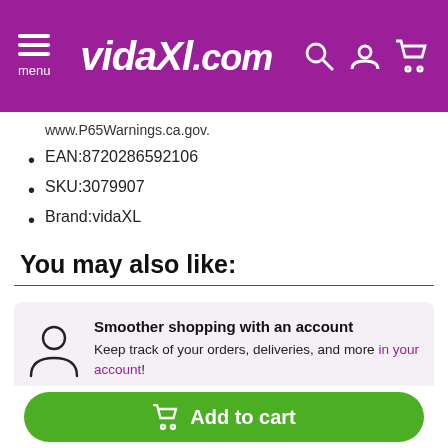vidaXL.com — menu, search, account, cart icons
www.P65Warnings.ca.gov.
EAN:8720286592106
SKU:3079907
Brand:vidaXL
You may also like:
Smoother shopping with an account — Keep track of your orders, deliveries, and more in your account!
Add to cart